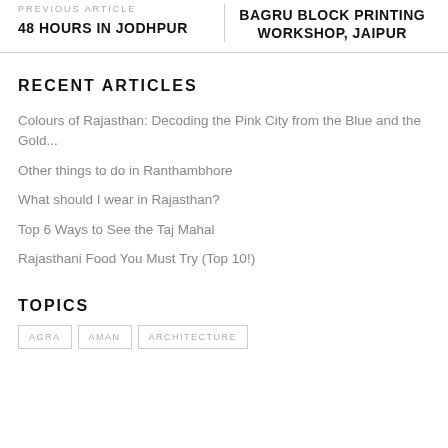PREVIOUS ARTICLE
48 HOURS IN JODHPUR
BAGRU BLOCK PRINTING WORKSHOP, JAIPUR
RECENT ARTICLES
Colours of Rajasthan: Decoding the Pink City from the Blue and the Gold...
Other things to do in Ranthambhore
What should I wear in Rajasthan?
Top 6 Ways to See the Taj Mahal
Rajasthani Food You Must Try (Top 10!)
TOPICS
AGRA   AMAN   ARCHITECTURE